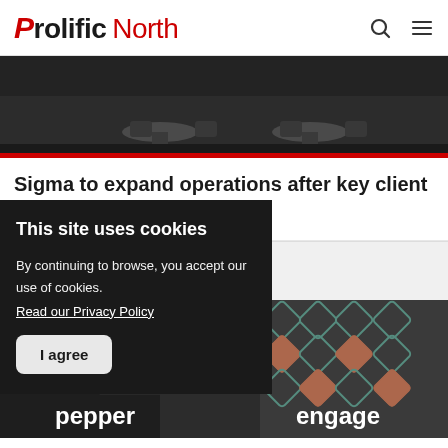Prolific North
[Figure (photo): Dark interior photo of a room with tables and chairs]
Sigma to expand operations after key client wins
Related News
[Figure (photo): Two brand images side by side: pepper and engage logos on dark backgrounds]
This site uses cookies
By continuing to browse, you accept our use of cookies.
Read our Privacy Policy
I agree